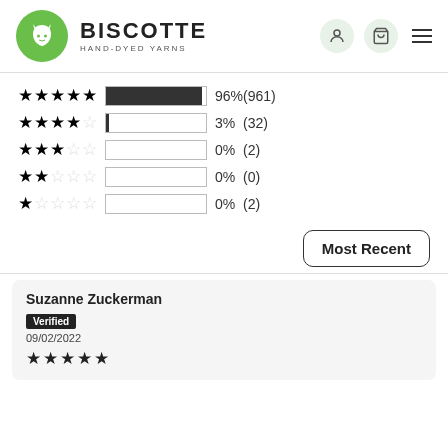[Figure (logo): Biscotte Hand-Dyed Yarns logo with green circle containing white cat icon]
| Stars | Bar | Percent | Count |
| --- | --- | --- | --- |
| 5 stars | 96% filled | 96% | (961) |
| 4 stars | 3% filled | 3% | (32) |
| 3 stars | 0% filled | 0% | (2) |
| 2 stars | 0% filled | 0% | (0) |
| 1 star | 0% filled | 0% | (2) |
Most Recent
Suzanne Zuckerman
Verified
09/02/2022
[Figure (other): 5 filled stars rating]